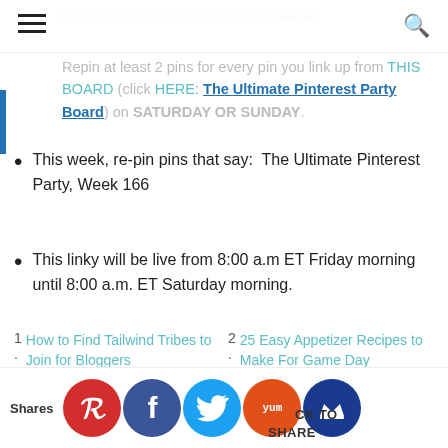Navigation bar with hamburger menu and search icon
incorrect links or no links will get deleted.
Repin at least 2 pins for every pin you link up from THIS BOARD (click HERE: The Ultimate Pinterest Party Board) on SATURDAY OR SUNDAY.
This week, re-pin pins that say: The Ultimate Pinterest Party, Week 166
This linky will be live from 8:00 a.m ET Friday morning until 8:00 a.m. ET Saturday morning.
1. How to Find Tailwind Tribes to Join for Bloggers
2. 25 Easy Appetizer Recipes to Make For Game Day
(Cannot add links: Registration/trial expired)
Shares | Social share buttons: Pinterest, Facebook, Twitter, Yummly, Crown | SHARE